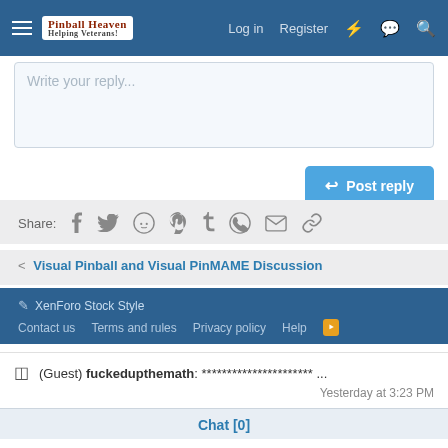Log in  Register
Write your reply...
Post reply
Share: (facebook, twitter, reddit, pinterest, tumblr, whatsapp, email, link)
< Visual Pinball and Visual PinMAME Discussion
XenForo Stock Style  Contact us  Terms and rules  Privacy policy  Help  RSS
(Guest) fuckedupthemath: ********************** ... Yesterday at 3:23 PM
Chat [0]